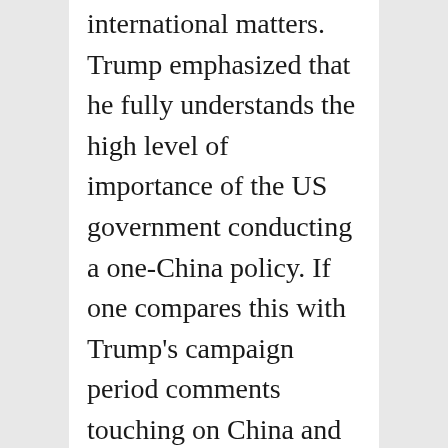international matters. Trump emphasized that he fully understands the high level of importance of the US government conducting a one-China policy. If one compares this with Trump's campaign period comments touching on China and post-election conversation with Tsai Ing-wen casting doubt on the one-China policy, calling